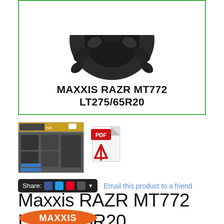[Figure (photo): Product image box with green border showing Maxxis RAZR MT772 tire (top portion) and bold product name label: MAXXIS RAZR MT772 LT275/65R20]
[Figure (photo): Thumbnail image of a tire store interior showing tires on display]
[Figure (other): PDF file icon (red PDF icon)]
Share: [Facebook] [Twitter] [Pinterest] [Google+] ▼   Email this product to a friend
Maxxis RAZR MT772 LT275/65R20
[Figure (logo): Maxxis brand logo — orange oval with MAXXIS text]